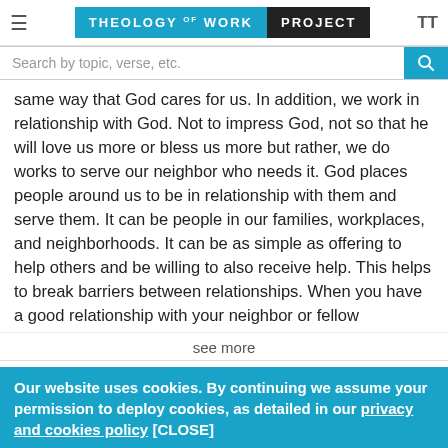Theology of Work Project
Search by topic, verse, etc.
same way that God cares for us. In addition, we work in relationship with God. Not to impress God, not so that he will love us more or bless us more but rather, we do works to serve our neighbor who needs it. God places people around us to be in relationship with them and serve them. It can be people in our families, workplaces, and neighborhoods. It can be as simple as offering to help others and be willing to also receive help. This helps to break barriers between relationships. When you have a good relationship with your neighbor or fellow
see more
Reply
Clement Michelet
a year ago edited
Our website uses cookies. By continuing we assume your permission to deploy cookies, as detailed in our privacy and cookies policy [CLOSE]